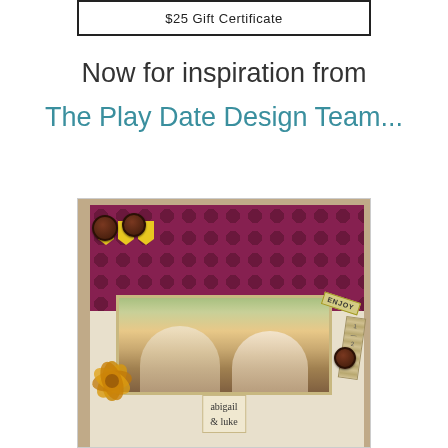[Figure (other): $25 Gift Certificate button/banner at top of page]
Now for inspiration from
The Play Date Design Team...
[Figure (photo): Handmade scrapbook card featuring two young children (abigail & luke) with decorative elements including polka dot paper, yellow banners, brown buttons, a golden flower, and kraft paper strips]